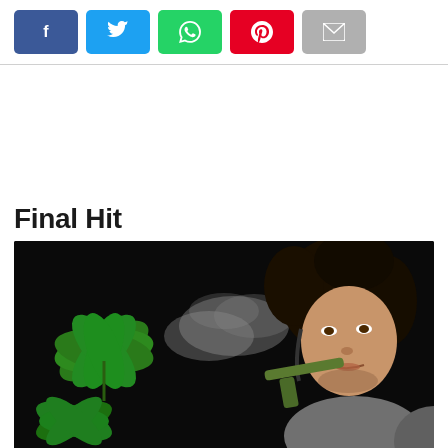[Figure (other): Row of social media share buttons: Facebook (blue), Twitter (light blue), WhatsApp (green), Pinterest (red), Email (grey)]
[Figure (photo): Young man with curly hair exhaling smoke from a bong/pipe, with a cannabis leaf visible in the foreground, dark background]